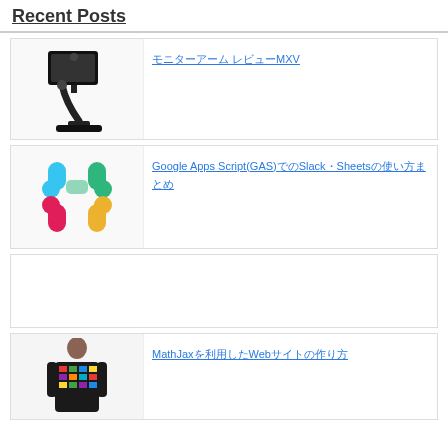Recent Posts
[Figure (photo): Monitor arm product image - black desk mount arm holding a monitor]
モニターアーム レビューMXV
[Figure (logo): Slack logo - colorful rounded shapes in blue, green, yellow, pink forming the Slack app icon]
Google Apps Script(GAS)でのSlack・Sheetsの使い方まとめ
[Figure (photo): Person wearing a colorful patterned jacket/shirt]
MathJaxを利用したWebサイトの作り方